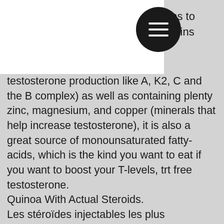ons to amins
[Figure (other): Hamburger menu icon — black circle with three white horizontal lines]
testosterone production like A, K2, C and the B complex) as well as containing plenty zinc, magnesium, and copper (minerals that help increase testosterone), it is also a great source of monounsaturated fatty-acids, which is the kind you want to eat if you want to boost your T-levels, trt free testosterone. Quinoa With Actual Steroids. Les stéroïdes injectables les plus populaires dans notre boutique: Testostérone Enanthat Norma, Testostérone Depo Galenika, Winstrol, Testoviron Depot, Deca Durabolin, Testostérone Enanthate Iran, Omnadren 250 et Sustanon 250 Turquie, trt free testosterone. Toutefois, contrairement à dautres stéroïdes anabolisants présentés ici, ses effets ne seront pas immédiats, testosterone